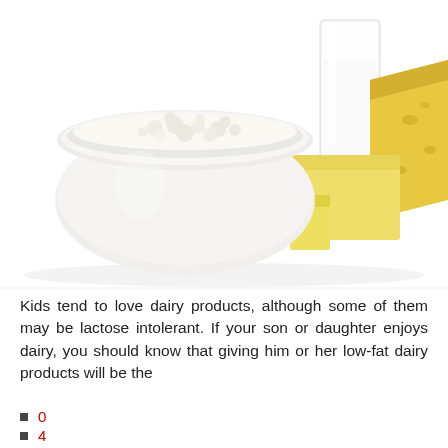[Figure (photo): Photo of dairy products: a white bowl filled with cottage cheese/ricotta, a glass of milk, blocks of butter, and a wedge of yellow cheese, all on a white background.]
Kids tend to love dairy products, although some of them may be lactose intolerant. If your son or daughter enjoys dairy, you should know that giving him or her low-fat dairy products will be the
0
4
8
8